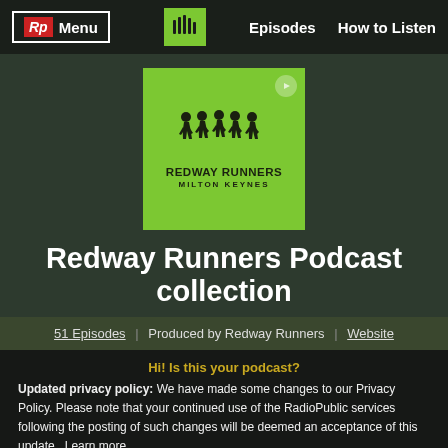Rp Menu | Episodes | How to Listen
[Figure (logo): Redway Runners podcast cover art: bright green square with silhouettes of runners, text REDWAY RUNNERS MILTON KEYNES]
Redway Runners Podcast collection
51 Episodes | Produced by Redway Runners | Website
Hi! Is this your podcast?
Updated privacy policy: We have made some changes to our Privacy Policy. Please note that your continued use of the RadioPublic services following the posting of such changes will be deemed an acceptance of this update. Learn more.